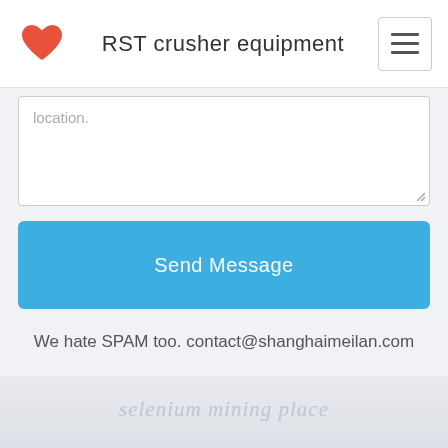RST crusher equipment
location.
Send Message
We hate SPAM too. contact@shanghaimeilan.com
selenium mining place